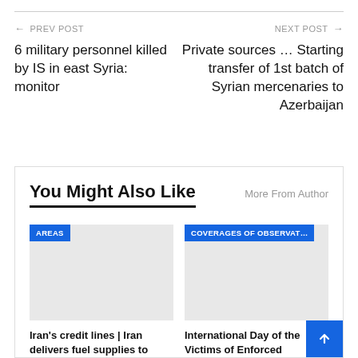← PREV POST
NEXT POST →
6 military personnel killed by IS in east Syria: monitor
Private sources … Starting transfer of 1st batch of Syrian mercenaries to Azerbaijan
You Might Also Like
More From Author
AREAS
COVERAGES OF OBSERVAT…
Iran's credit lines | Iran delivers fuel supplies to Syria, while government
International Day of the Victims of Enforced Disappearances | SOHR